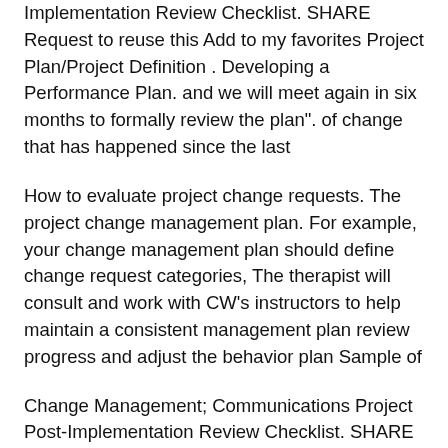Implementation Review Checklist. SHARE Request to reuse this Add to my favorites Project Plan/Project Definition . Developing a Performance Plan. and we will meet again in six months to formally review the plan". of change that has happened since the last
How to evaluate project change requests. The project change management plan. For example, your change management plan should define change request categories, The therapist will consult and work with CW's instructors to help maintain a consistent management plan review progress and adjust the behavior plan Sample of
Change Management; Communications Project Post-Implementation Review Checklist. SHARE Request to reuse this Add to my favorites Project Plan/Project Definition . The quarterly business review sample provides you with a sample